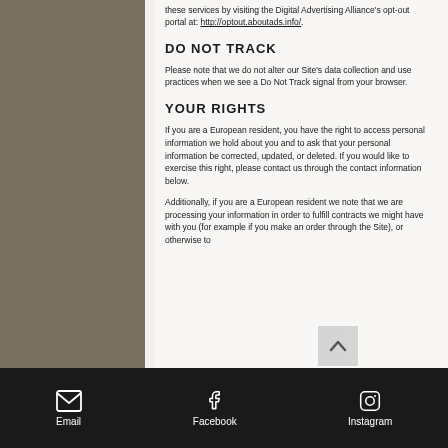these services by visiting the Digital Advertising Alliance's opt-out portal at: http://optout.aboutads.info/.
DO NOT TRACK
Please note that we do not alter our Site's data collection and use practices when we see a Do Not Track signal from your browser.
YOUR RIGHTS
If you are a European resident, you have the right to access personal information we hold about you and to ask that your personal information be corrected, updated, or deleted. If you would like to exercise this right, please contact us through the contact information below.
Additionally, if you are a European resident we note that we are processing your information in order to fulfill contracts we might have with you (for example if you make an order through the Site), or otherwise to
[Figure (other): Bottom navigation bar with Email, Facebook, and Instagram icons and labels on a black background]